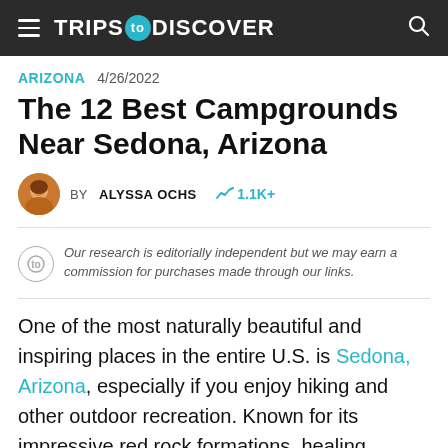TRIPS TO DISCOVER
ARIZONA  4/26/2022
The 12 Best Campgrounds Near Sedona, Arizona
BY ALYSSA OCHS  1.1K+
Our research is editorially independent but we may earn a commission for purchases made through our links.
One of the most naturally beautiful and inspiring places in the entire U.S. is Sedona, Arizona, especially if you enjoy hiking and other outdoor recreation. Known for its impressive red rock formations, healing vortexes, art galleries, and wellness tourism, Sedona is a place that you'll want to spend a while to soak up all the positive vibes.